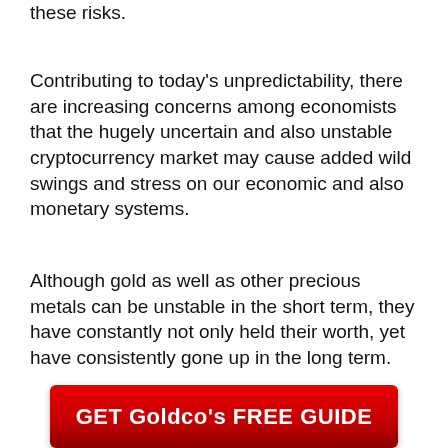these risks.
Contributing to today’s unpredictability, there are increasing concerns among economists that the hugely uncertain and also unstable cryptocurrency market may cause added wild swings and stress on our economic and also monetary systems.
Although gold as well as other precious metals can be unstable in the short term, they have constantly not only held their worth, yet have consistently gone up in the long term.
[Figure (other): Red button with text GET Goldco's FREE GUIDE]